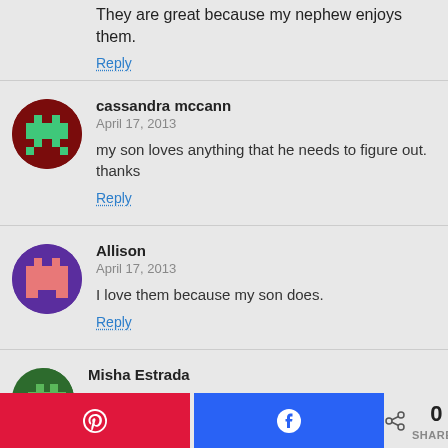They are great because my nephew enjoys them.
Reply
cassandra mccann
April 17, 2013
my son loves anything that he needs to figure out. thanks
Reply
Allison
April 17, 2013
I love them because my son does.
Reply
Misha Estrada